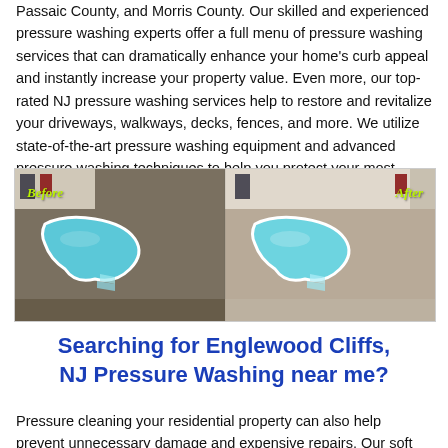Passaic County, and Morris County. Our skilled and experienced pressure washing experts offer a full menu of pressure washing services that can dramatically enhance your home's curb appeal and instantly increase your property value. Even more, our top-rated NJ pressure washing services help to restore and revitalize your driveways, walkways, decks, fences, and more. We utilize state-of-the-art pressure washing equipment and advanced pressure washing techniques to help you protect your most valuable asset.
[Figure (photo): Before and after comparison photo of a swimming pool area after pressure washing. Left side labeled 'Before' shows darker, dirty concrete around pool. Right side labeled 'After' shows clean, lighter concrete. Pool is kidney/figure-eight shaped with turquoise water, white coping, surrounded by concrete patio. House visible in background.]
Searching for Englewood Cliffs, NJ Pressure Washing near me?
Pressure cleaning your residential property can also help prevent unnecessary damage and expensive repairs. Our soft wash